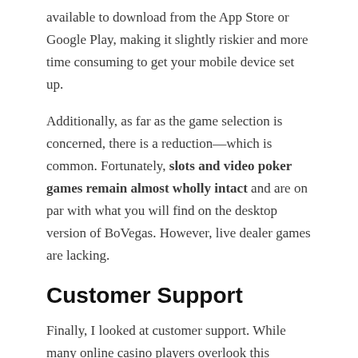available to download from the App Store or Google Play, making it slightly riskier and more time consuming to get your mobile device set up.
Additionally, as far as the game selection is concerned, there is a reduction—which is common. Fortunately, slots and video poker games remain almost wholly intact and are on par with what you will find on the desktop version of BoVegas. However, live dealer games are lacking.
Customer Support
Finally, I looked at customer support. While many online casino players overlook this feature, it is essential good customer support is in place in case you did have any